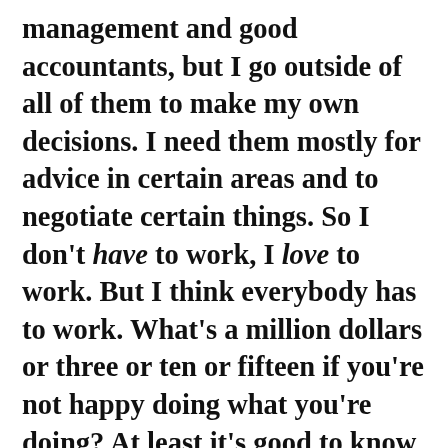management and good accountants, but I go outside of all of them to make my own decisions. I need them mostly for advice in certain areas and to negotiate certain things. So I don't have to work, I love to work. But I think everybody has to work. What's a million dollars or three or ten or fifteen if you're not happy doing what you're doing? At least it's good to know if you want to take off for a year you can. But if I took off and didn't feel creative I'd just get stale. I can't even go on vacation. I do know how to have a good time, and I do, but when I'm on vacation I can't help but think